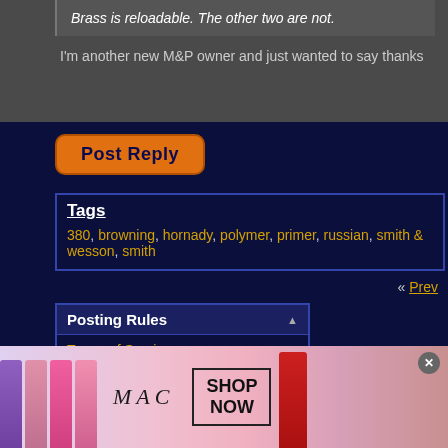Brass is reloadable. The other two are not.
I'm another new M&P owner and just wanted to say thanks
[Figure (other): Orange rounded Post Reply button with dark navy text]
Tags
380, browning, hornady, polymer, primer, russian, smith & wesson, smith
« Prev
Posting Rules
Terms of Service
[Figure (photo): MAC cosmetics advertisement showing lipstick products with SHOP NOW button]